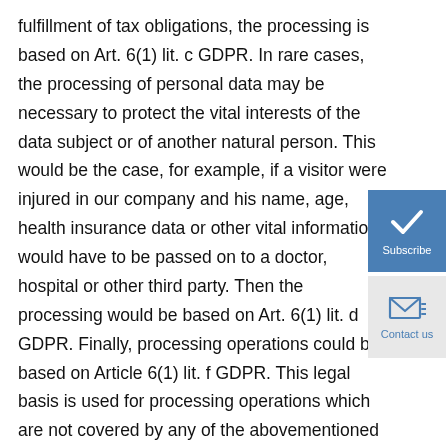fulfillment of tax obligations, the processing is based on Art. 6(1) lit. c GDPR. In rare cases, the processing of personal data may be necessary to protect the vital interests of the data subject or of another natural person. This would be the case, for example, if a visitor were injured in our company and his name, age, health insurance data or other vital information would have to be passed on to a doctor, hospital or other third party. Then the processing would be based on Art. 6(1) lit. d GDPR. Finally, processing operations could be based on Article 6(1) lit. f GDPR. This legal basis is used for processing operations which are not covered by any of the abovementioned legal grounds, if processing is necessary for the purposes of the legitimate interests pursued by our company or by a third
[Figure (other): Subscribe button with white checkmark icon on blue background]
[Figure (other): Contact us button with envelope icon on light gray background]